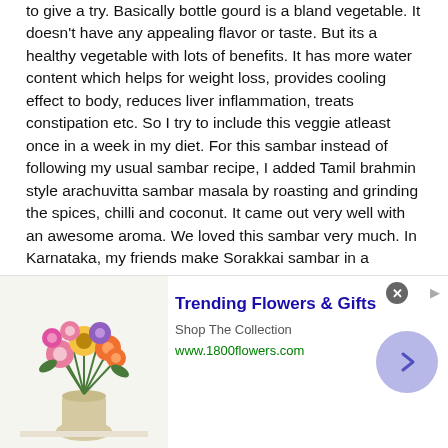to give a try. Basically bottle gourd is a bland vegetable. It doesn't have any appealing flavor or taste. But its a healthy vegetable with lots of benefits. It has more water content which helps for weight loss, provides cooling effect to body, reduces liver inflammation, treats constipation etc. So I try to include this veggie atleast once in a week in my diet. For this sambar instead of following my usual sambar recipe, I added Tamil brahmin style arachuvitta sambar masala by roasting and grinding the spices, chilli and coconut. It came out very well with an awesome aroma. We loved this sambar very much. In Karnataka, my friends make Sorakkai sambar in a different way by adding a different masala. Soon I will try to learn from them and make a post. Now lets see how to make Tamilnadu style sorakkai sambar recipe with step by step pictures.
Check out my other sambar varieties for rice.
Also check out my 70+ kuzhambu recipes !
[Figure (advertisement): Advertisement banner for 1800flowers.com - Trending Flowers & Gifts. Shows a floral arrangement image on the left, text in center, and a navigation arrow on the right.]